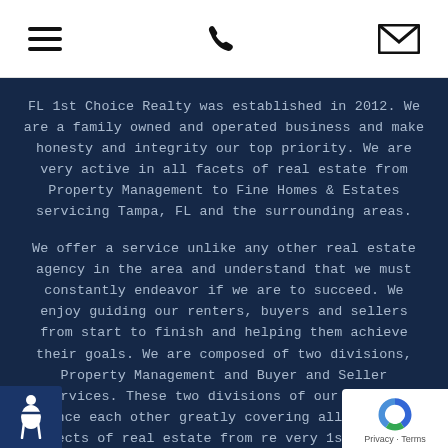[menu icon] [phone icon] [mail icon]
FL 1st Choice Realty was established in 2012. We are a family owned and operated business and make honesty and integrity our top priority. We are very active in all facets of real estate from Property Management to Fine Homes & Estates servicing Tampa, FL and the surrounding areas.
We offer a service unlike any other real estate agency in the area and understand that we must constantly endeavor if we are to succeed. We enjoy guiding our renters, buyers and sellers from start to finish and helping them achieve their goals. We are composed of two divisions, Property Management and Buyer and Seller Services. These two divisions of our company enhance each other greatly covering all important aspects of real estate from re[nting your] very 1st home to the purchase and sale of your w[dream] home.